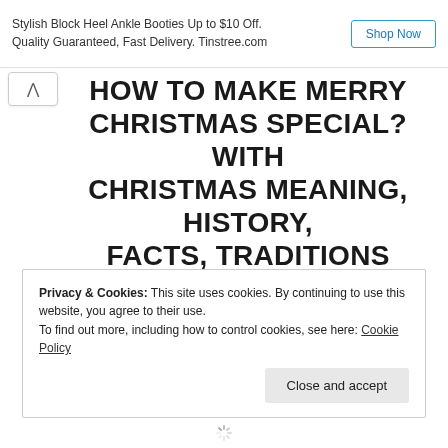Stylish Block Heel Ankle Booties Up to $10 Off. Quality Guaranteed, Fast Delivery. Tinstree.com  Shop Now
HOW TO MAKE MERRY CHRISTMAS SPECIAL? WITH CHRISTMAS MEANING, HISTORY, FACTS, TRADITIONS
MAY 1, 2020 / PARAS KUMAR / LEAVE A COMMENT
Privacy & Cookies: This site uses cookies. By continuing to use this website, you agree to their use.
To find out more, including how to control cookies, see here: Cookie Policy

Close and accept